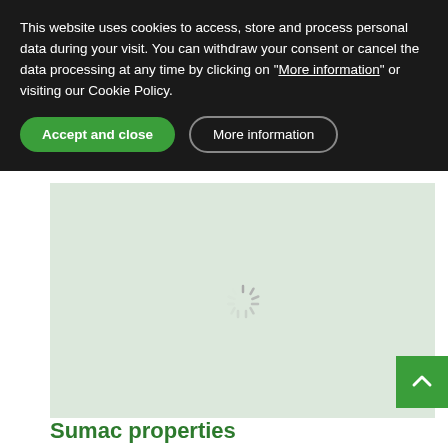This website uses cookies to access, store and process personal data during your visit. You can withdraw your consent or cancel the data processing at any time by clicking on "More information" or visiting our Cookie Policy.
Accept and close
More information
[Figure (map): A light green map area with a loading spinner in the center, indicating a map is loading.]
Sumac properties